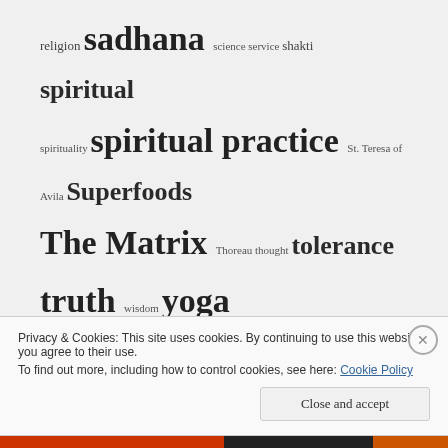religion sadhana science service shakti spiritual spirituality spiritual practice St. Teresa of Avila Superfoods The Matrix Thoreau thought tolerance truth wisdom yoga
ARCHIVES
January 2016
June 2015
Privacy & Cookies: This site uses cookies. By continuing to use this website, you agree to their use. To find out more, including how to control cookies, see here: Cookie Policy
Close and accept